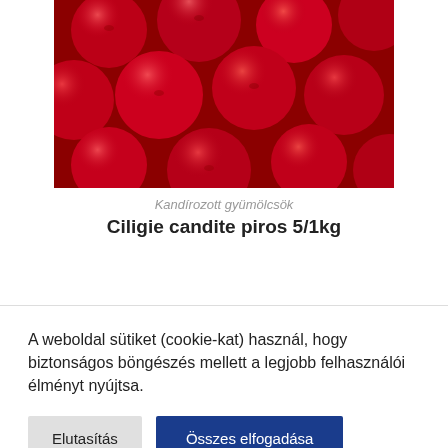[Figure (photo): Close-up photo of red candied cherries, shiny and glossy, filling the entire frame.]
Kandírozott gyümölcsök
Ciligie candite piros 5/1kg
A weboldal sütiket (cookie-kat) használ, hogy biztonságos böngészés mellett a legjobb felhasználói élményt nyújtsa.